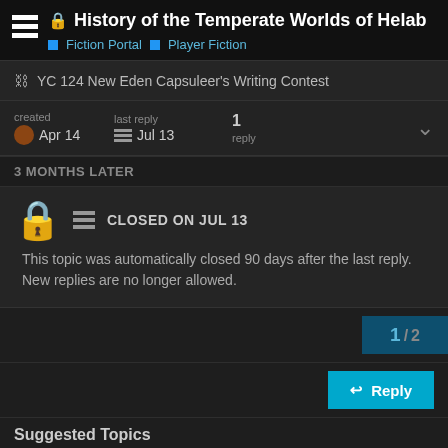History of the Temperate Worlds of Helab
Fiction Portal · Player Fiction
YC 124 New Eden Capsuleer's Writing Contest
created Apr 14   last reply Jul 13   1 reply
3 MONTHS LATER
CLOSED ON JUL 13
This topic was automatically closed 90 days after the last reply. New replies are no longer allowed.
1 / 2
Reply
Suggested Topics